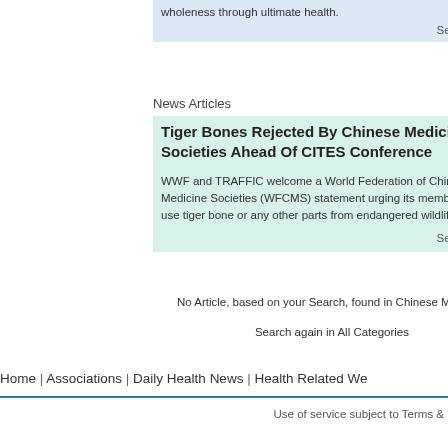wholeness through ultimate health.
See more >>
News Articles
Tiger Bones Rejected By Chinese Medicine Societies Ahead Of CITES Conference
WWF and TRAFFIC welcome a World Federation of Chinese Medicine Societies (WFCMS) statement urging its members not to use tiger bone or any other parts from endangered wildlife.
See more >>
No Article, based on your Search, found in Chinese Medicine
Search again in All Categories
Home | Associations | Daily Health News | Health Related We...
Use of service subject to Terms &